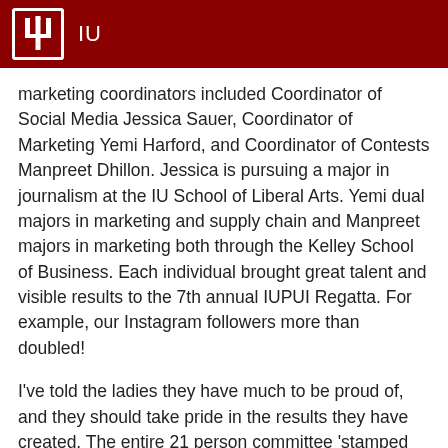IU
marketing coordinators included Coordinator of Social Media Jessica Sauer, Coordinator of Marketing Yemi Harford, and Coordinator of Contests Manpreet Dhillon. Jessica is pursuing a major in journalism at the IU School of Liberal Arts. Yemi dual majors in marketing and supply chain and Manpreet majors in marketing both through the Kelley School of Business. Each individual brought great talent and visible results to the 7th annual IUPUI Regatta. For example, our Instagram followers more than doubled!
I've told the ladies they have much to be proud of, and they should take pride in the results they have created. The entire 21 person committee 'stamped their name' of the 7th year of the event and nothing will change that